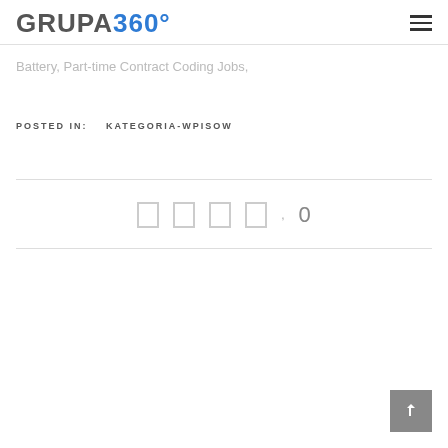GRUPA360°
Battery, Part-time Contract Coding Jobs,
POSTED IN:   KATEGORIA-WPISOW
0